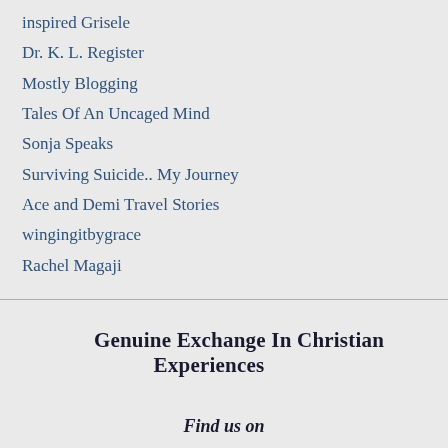inspired Grisele
Dr. K. L. Register
Mostly Blogging
Tales Of An Uncaged Mind
Sonja Speaks
Surviving Suicide.. My Journey
Ace and Demi Travel Stories
wingingitbygrace
Rachel Magaji
Genuine Exchange In Christian Experiences
Find us on